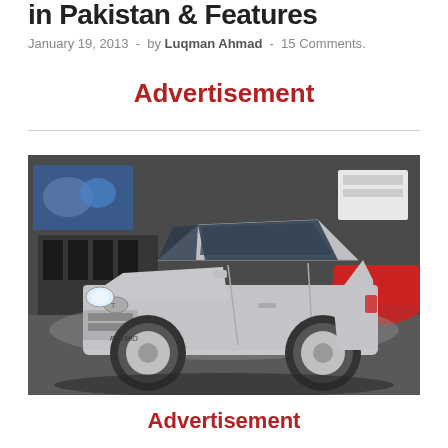in Pakistan & Features
January 19, 2013  -  by Luqman Ahmad  -  15 Comments.
Advertisement
[Figure (photo): Silver Toyota Premio sedan photographed in a showroom, front three-quarter view, with dealership interior visible in background]
Advertisement